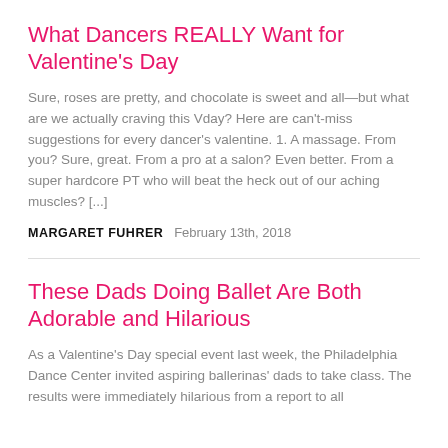What Dancers REALLY Want for Valentine's Day
Sure, roses are pretty, and chocolate is sweet and all—but what are we actually craving this Vday? Here are can't-miss suggestions for every dancer's valentine. 1. A massage. From you? Sure, great. From a pro at a salon? Even better. From a super hardcore PT who will beat the heck out of our aching muscles? [...]
MARGARET FUHRER   February 13th, 2018
These Dads Doing Ballet Are Both Adorable and Hilarious
As a Valentine's Day special event last week, the Philadelphia Dance Center invited aspiring ballerinas' dads to take class. The results were immediately hilarious from a report to all...